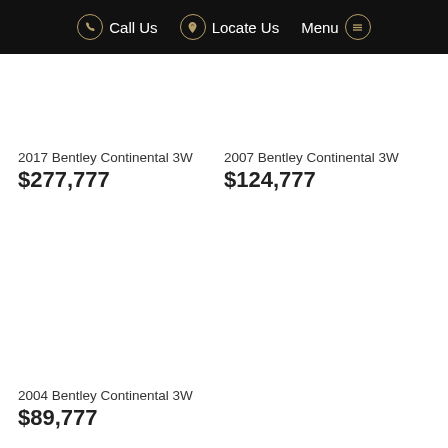Call Us   Locate Us   Menu
2017 Bentley Continental 3W
$277,777
2007 Bentley Continental 3W
$124,777
2004 Bentley Continental 3W
$89,777
* If the price does not contain the notation that it is "Drive Away", the price may not include additional costs, such as stamp duty and other government charges. Please confirm price and features with the seller of the vehicle.